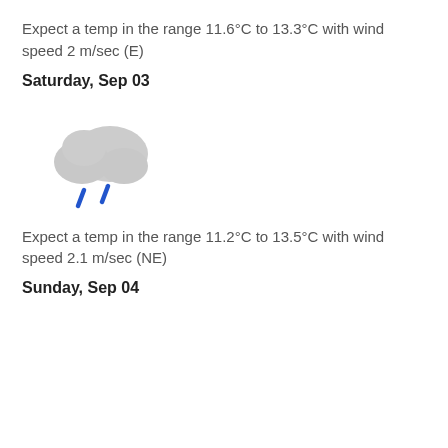Expect a temp in the range 11.6°C to 13.3°C with wind speed 2 m/sec (E)
Saturday, Sep 03
[Figure (illustration): Rain cloud weather icon — a grey cloud with two blue rain drops falling below it]
Expect a temp in the range 11.2°C to 13.5°C with wind speed 2.1 m/sec (NE)
Sunday, Sep 04